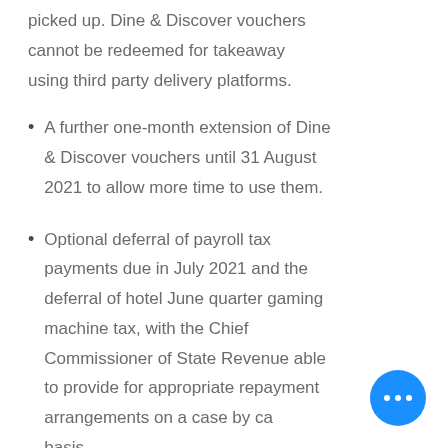picked up. Dine & Discover vouchers cannot be redeemed for takeaway using third party delivery platforms.
A further one-month extension of Dine & Discover vouchers until 31 August 2021 to allow more time to use them.
Optional deferral of payroll tax payments due in July 2021 and the deferral of hotel June quarter gaming machine tax, with the Chief Commissioner of State Revenue able to provide for appropriate repayment arrangements on a case by case basis.